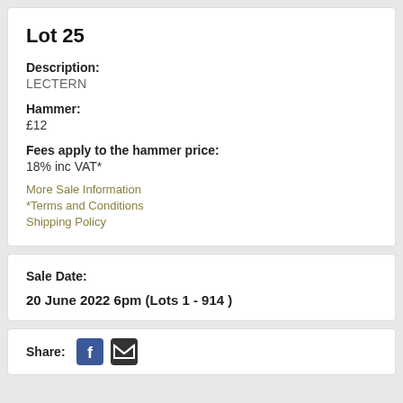Lot 25
Description:
LECTERN
Hammer:
£12
Fees apply to the hammer price:
18% inc VAT*
More Sale Information
*Terms and Conditions
Shipping Policy
Sale Date:
20 June 2022 6pm (Lots 1 - 914 )
Share: